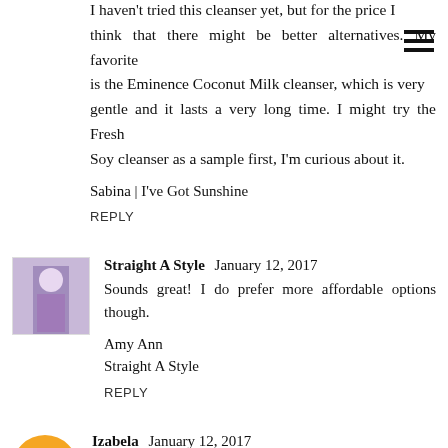I haven't tried this cleanser yet, but for the price I think that there might be better alternatives. My favorite is the Eminence Coconut Milk cleanser, which is very gentle and it lasts a very long time. I might try the Fresh Soy cleanser as a sample first, I'm curious about it.
Sabina | I've Got Sunshine
REPLY
Straight A Style  January 12, 2017
Sounds great! I do prefer more affordable options though.
Amy Ann
Straight A Style
REPLY
Izabela  January 12, 2017
That cleanser sounds great. It's a shame we don't have